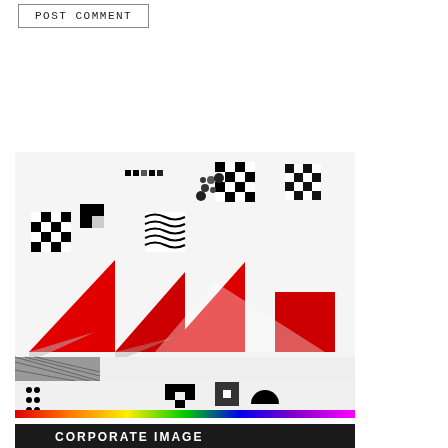POST COMMENT
[Figure (illustration): Abstract graphic design with red triangles, black and white geometric pixel patterns, and a rainbow color bar at the bottom on a white background.]
[Figure (illustration): Dark background image with the text 'CORPORATE IMAGE' in white uppercase letters.]